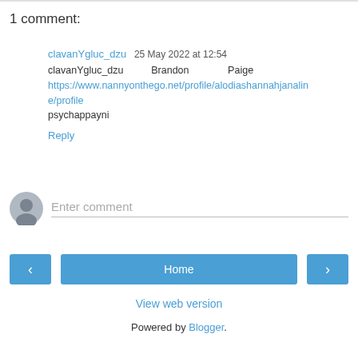1 comment:
clavanYgluc_dzu 25 May 2022 at 12:54
clavanYgluc_dzu Brandon Paige
https://www.nannyonthego.net/profile/alodiashannahjanaline/profile
psychappayni
Reply
[Figure (other): Comment input area with avatar icon and Enter comment placeholder text]
Home
View web version
Powered by Blogger.